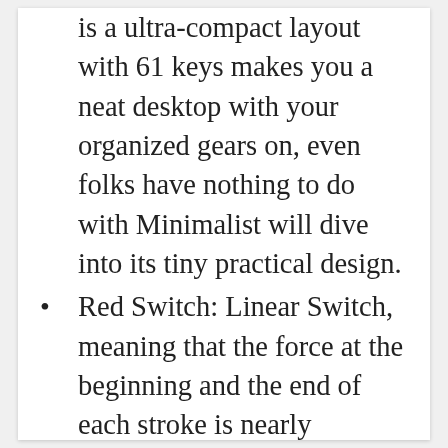is a ultra-compact layout with 61 keys makes you a neat desktop with your organized gears on, even folks have nothing to do with Minimalist will dive into its tiny practical design.
Red Switch: Linear Switch, meaning that the force at the beginning and the end of each stroke is nearly identical.
RK61 RGB Keyboard: This 60% rgb keyboad has 18 RGB backlight modes, 8 monochrome backlight